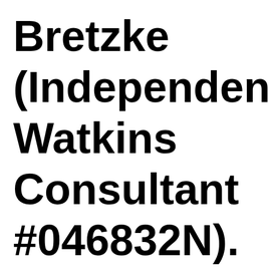Bretzke (Independent Watkins Consultant #046832N).